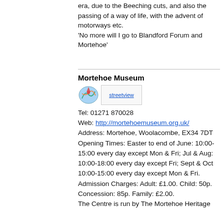era, due to the Beeching cuts, and also the passing of a way of life, with the advent of motorways etc.
'No more will I go to Blandford Forum and Mortehoe'
Mortehoe Museum
[Figure (other): Map icon and streetview link icons]
Tel: 01271 870028
Web: http://mortehoemuseum.org.uk/
Address: Mortehoe, Woolacombe, EX34 7DT
Opening Times: Easter to end of June: 10:00-15:00 every day except Mon & Fri; Jul & Aug: 10:00-18:00 every day except Fri; Sept & Oct 10:00-15:00 every day except Mon & Fri.
Admission Charges: Adult: £1.00. Child: 50p. Concession: 85p. Family: £2.00.
The Centre is run by The Mortehoe Heritage